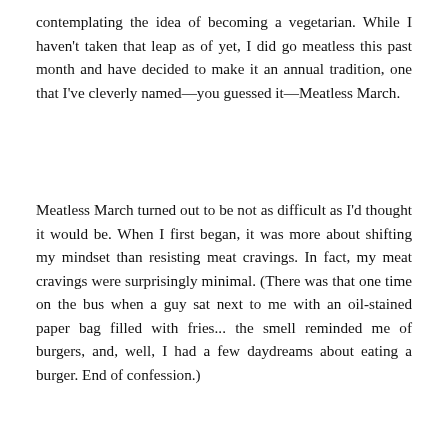contemplating the idea of becoming a vegetarian. While I haven't taken that leap as of yet, I did go meatless this past month and have decided to make it an annual tradition, one that I've cleverly named—you guessed it—Meatless March.
Meatless March turned out to be not as difficult as I'd thought it would be. When I first began, it was more about shifting my mindset than resisting meat cravings. In fact, my meat cravings were surprisingly minimal. (There was that one time on the bus when a guy sat next to me with an oil-stained paper bag filled with fries... the smell reminded me of burgers, and, well, I had a few daydreams about eating a burger. End of confession.)